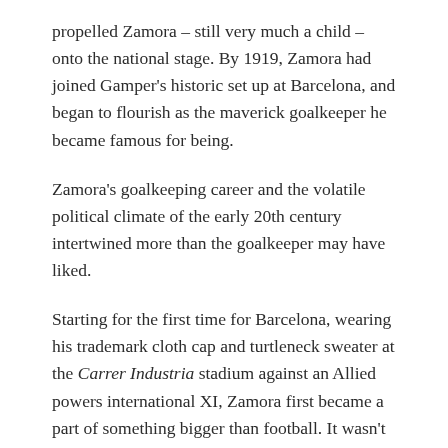propelled Zamora – still very much a child – onto the national stage. By 1919, Zamora had joined Gamper's historic set up at Barcelona, and began to flourish as the maverick goalkeeper he became famous for being.
Zamora's goalkeeping career and the volatile political climate of the early 20th century intertwined more than the goalkeeper may have liked.
Starting for the first time for Barcelona, wearing his trademark cloth cap and turtleneck sweater at the Carrer Industria stadium against an Allied powers international XI, Zamora first became a part of something bigger than football. It wasn't the first time that the goalkeeper would be associated with war – just over ten years later, Zamora would find himself a Republican political prisoner.